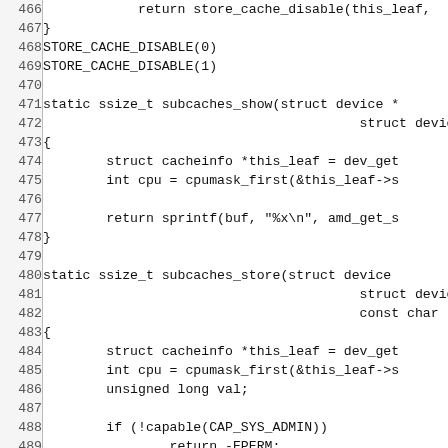[Figure (other): Source code listing (C language) showing lines 466-495 with line numbers on the left and code on the right. Functions include store_cache_disable, subcaches_show, and subcaches_store.]